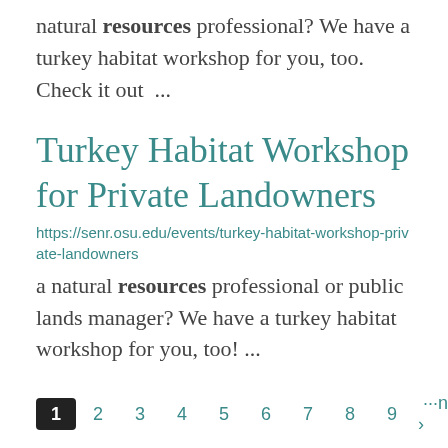natural resources professional? We have a turkey habitat workshop for you, too. Check it out  ...
Turkey Habitat Workshop for Private Landowners
https://senr.osu.edu/events/turkey-habitat-workshop-private-landowners
a natural resources professional or public lands manager? We have a turkey habitat workshop for you, too! ...
1 2 3 4 5 6 7 8 9 ···next › last »